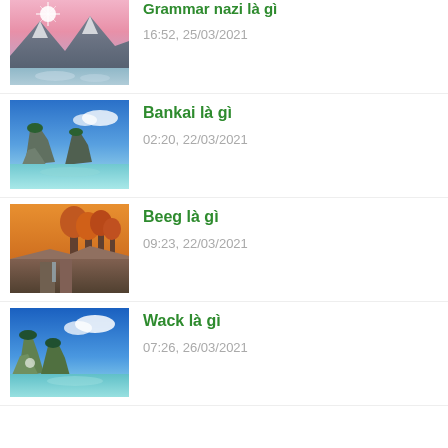[Figure (photo): Mountain landscape with bright star/sun over snowy peaks and frozen lake]
Grammar nazi là gì
16:52, 25/03/2021
[Figure (photo): Tropical island with rock formations and clear turquoise water]
Bankai là gì
02:20, 22/03/2021
[Figure (photo): Autumn forest with orange trees and canyon cliffs at sunset]
Beeg là gì
09:23, 22/03/2021
[Figure (photo): Tropical beach with blue sky and large rock formations in water]
Wack là gì
07:26, 26/03/2021